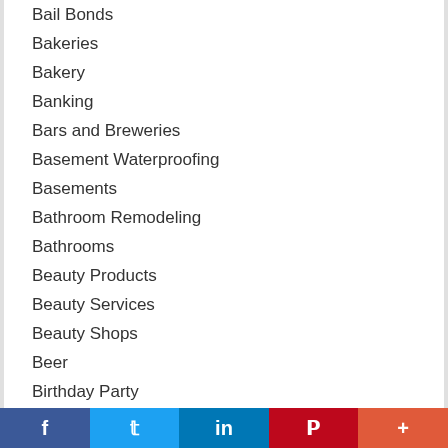Bail Bonds
Bakeries
Bakery
Banking
Bars and Breweries
Basement Waterproofing
Basements
Bathroom Remodeling
Bathrooms
Beauty Products
Beauty Services
Beauty Shops
Beer
Birthday Party